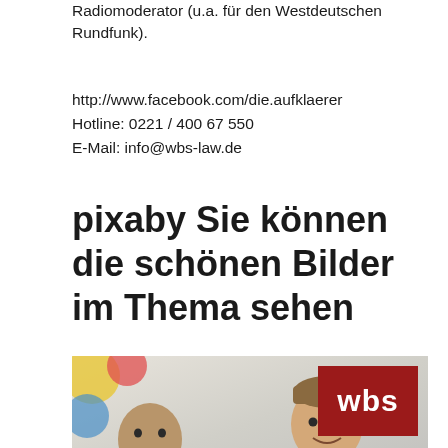Radiomoderator (u.a. für den Westdeutschen Rundfunk).
http://www.facebook.com/die.aufklaerer
Hotline: 0221 / 400 67 550
E-Mail: info@wbs-law.de
pixaby Sie können die schönen Bilder im Thema sehen
[Figure (photo): Two men in a professional setting; one bald with a beard wearing a t-shirt (GEOCAMPP), the other in a suit, with a red WBS law firm logo in the upper right corner]